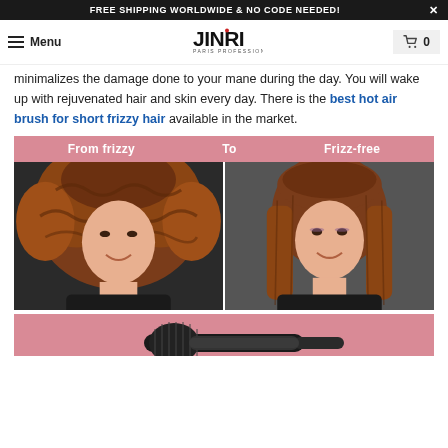FREE SHIPPING WORLDWIDE & NO CODE NEEDED!
Menu | JINRI PARIS PROFESSIONAL | 0
minimalizes the damage done to your mane during the day. You will wake up with rejuvenated hair and skin every day. There is the best hot air brush for short frizzy hair available in the market.
[Figure (photo): Before and after comparison image showing a woman with frizzy hair on the left labeled 'From frizzy' and the same woman with smooth frizz-free hair on the right labeled 'Frizz-free', with a pink header bar reading 'From frizzy To Frizz-free']
[Figure (photo): Partial image of a hot air brush tool on a pink background, visible at the bottom of the page]